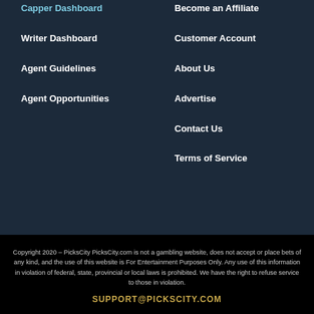Capper Dashboard
Writer Dashboard
Agent Guidelines
Agent Opportunities
Become an Affiliate
Customer Account
About Us
Advertise
Contact Us
Terms of Service
Copyright 2020 – PicksCity PicksCity.com is not a gambling website, does not accept or place bets of any kind, and the use of this website is For Entertainment Purposes Only. Any use of this information in violation of federal, state, provincial or local laws is prohibited. We have the right to refuse service to those in violation.
SUPPORT@PICKSCITY.COM